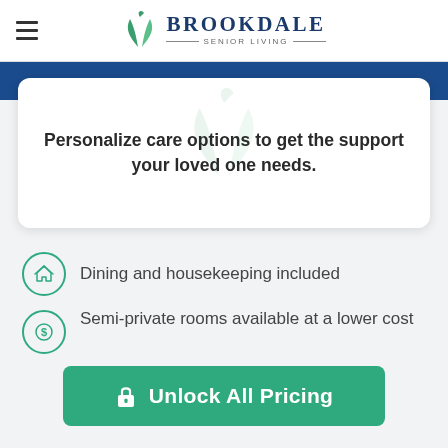[Figure (logo): Brookdale Senior Living logo with green leaf graphic and blue text]
Personalize care options to get the support your loved one needs.
Dining and housekeeping included
Semi-private rooms available at a lower cost
Unlock All Pricing